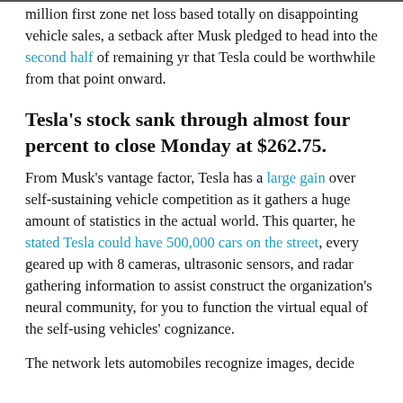million first zone net loss based totally on disappointing vehicle sales, a setback after Musk pledged to head into the second half of remaining yr that Tesla could be worthwhile from that point onward.
Tesla's stock sank through almost four percent to close Monday at $262.75.
From Musk's vantage factor, Tesla has a large gain over self-sustaining vehicle competition as it gathers a huge amount of statistics in the actual world. This quarter, he stated Tesla could have 500,000 cars on the street, every geared up with 8 cameras, ultrasonic sensors, and radar gathering information to assist construct the organization's neural community, for you to function the virtual equal of the self-using vehicles' cognizance.
The network lets automobiles recognize images, decide